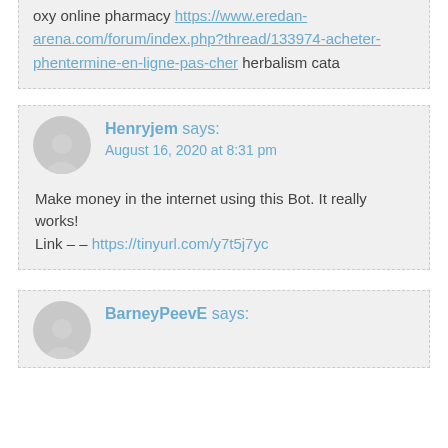oxy online pharmacy https://www.eredan-arena.com/forum/index.php?thread/133974-acheter-phentermine-en-ligne-pas-cher herbalism cata
Henryjem says: August 16, 2020 at 8:31 pm
Make money in the internet using this Bot. It really works!
Link – – https://tinyurl.com/y7t5j7yc
BarneyPeevE says: